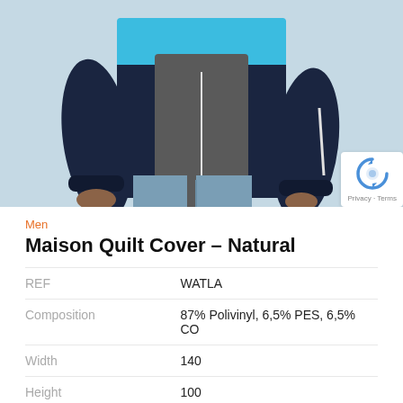[Figure (photo): A man wearing a navy and cyan windbreaker jacket over a grey sweater with light blue jeans, photographed from chest down against a light blue/grey background.]
Men
Maison Quilt Cover – Natural
| REF | WATLA |
| Composition | 87% Polivinyl, 6,5% PES, 6,5% CO |
| Width | 140 |
| Height | 100 |